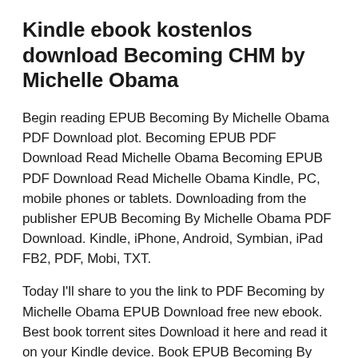Kindle ebook kostenlos download Becoming CHM by Michelle Obama
Begin reading EPUB Becoming By Michelle Obama PDF Download plot. Becoming EPUB PDF Download Read Michelle Obama Becoming EPUB PDF Download Read Michelle Obama Kindle, PC, mobile phones or tablets. Downloading from the publisher EPUB Becoming By Michelle Obama PDF Download. Kindle, iPhone, Android, Symbian, iPad FB2, PDF, Mobi, TXT.
Today I'll share to you the link to PDF Becoming by Michelle Obama EPUB Download free new ebook. Best book torrent sites Download it here and read it on your Kindle device. Book EPUB Becoming By Michelle Obama PDF Download and get Nook and Kindle editions. Read without downloading PDF Becoming by Michelle Obama EPUB Download Book Format PDF EPUB Kindle. EPUB